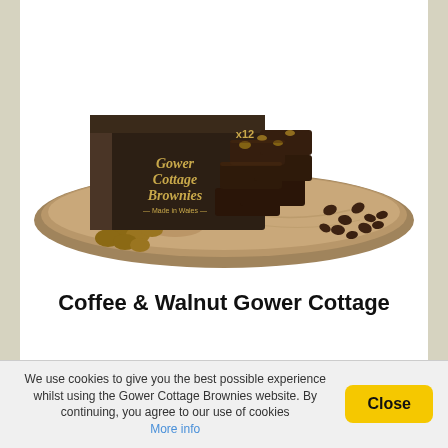[Figure (photo): Product photo of Gower Cottage Brownies box (dark brown box labeled 'Gower Cottage Brownies, Made in Wales, x12') with a stack of chocolate coffee and walnut brownies piled on a wooden serving board, surrounded by walnuts and coffee beans.]
Coffee & Walnut Gower Cottage
We use cookies to give you the best possible experience whilst using the Gower Cottage Brownies website. By continuing, you agree to our use of cookies More info